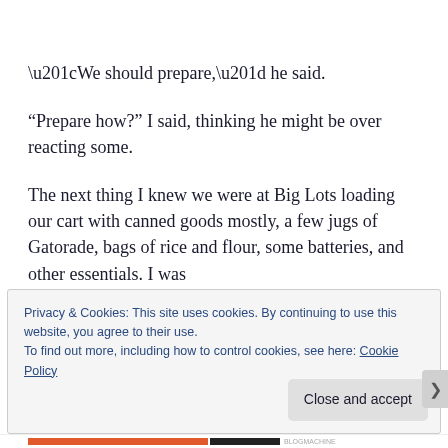“We should prepare,” he said.
“Prepare how?” I said, thinking he might be over reacting some.
The next thing I knew we were at Big Lots loading our cart with canned goods mostly, a few jugs of Gatorade, bags of rice and flour, some batteries, and other essentials. I was
Privacy & Cookies: This site uses cookies. By continuing to use this website, you agree to their use.
To find out more, including how to control cookies, see here: Cookie Policy
Close and accept